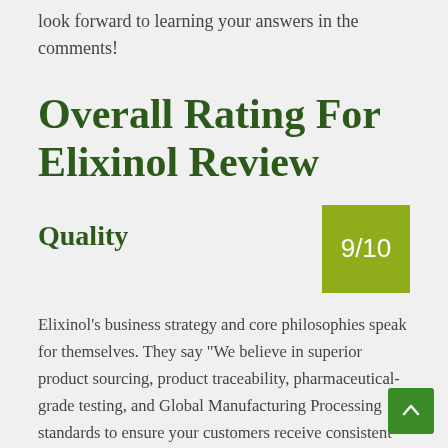look forward to learning your answers in the comments!
Overall Rating For Elixinol Review
Quality
9/10
Elixinol's business strategy and core philosophies speak for themselves. They say “We believe in superior product sourcing, product traceability, pharmaceutical-grade testing, and Global Manufacturing Processing standards to ensure your customers receive consistent and safe hemp-derived CBD products.” If you go to their page on core values you can continue reading